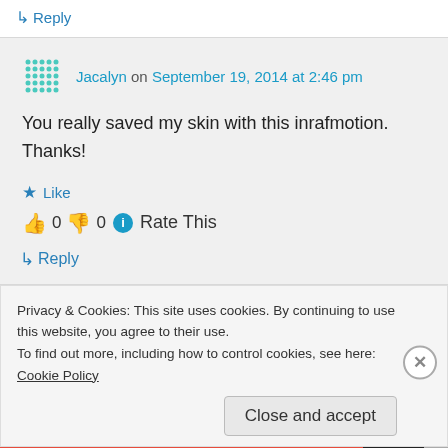↳ Reply
Jacalyn on September 19, 2014 at 2:46 pm
You really saved my skin with this inrafmotion. Thanks!
★ Like
👍 0 👎 0 ℹ Rate This
↳ Reply
Privacy & Cookies: This site uses cookies. By continuing to use this website, you agree to their use.
To find out more, including how to control cookies, see here: Cookie Policy
Close and accept